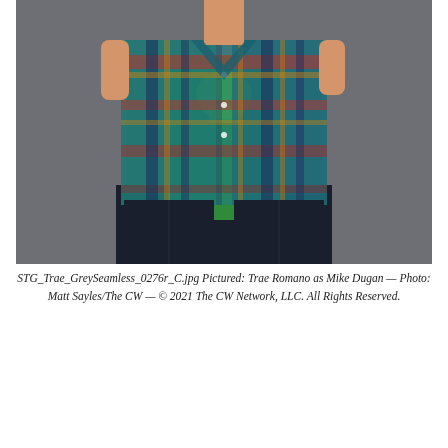[Figure (photo): A young man wearing an open multicolor plaid short-sleeve shirt over a green graphic t-shirt and dark pants, posed against a grey background. The photo is a promotional still.]
STG_Trae_GreySeamless_0276r_C.jpg Pictured: Trae Romano as Mike Dugan — Photo: Matt Sayles/The CW — © 2021 The CW Network, LLC. All Rights Reserved.